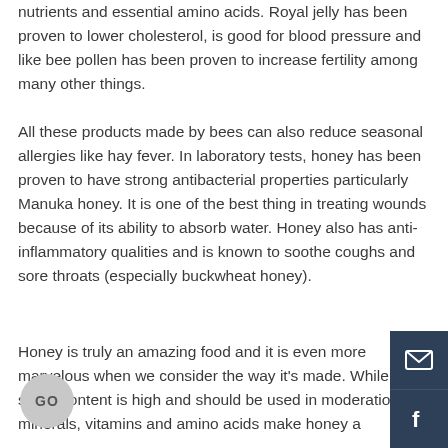nutrients and essential amino acids. Royal jelly has been proven to lower cholesterol, is good for blood pressure and like bee pollen has been proven to increase fertility among many other things.
All these products made by bees can also reduce seasonal allergies like hay fever. In laboratory tests, honey has been proven to have strong antibacterial properties particularly Manuka honey. It is one of the best thing in treating wounds because of its ability to absorb water. Honey also has anti-inflammatory qualities and is known to soothe coughs and sore throats (especially buckwheat honey).
Honey is truly an amazing food and it is even more marvelous when we consider the way it's made. While sugar content is high and should be used in moderation, the minerals, vitamins and amino acids make honey a